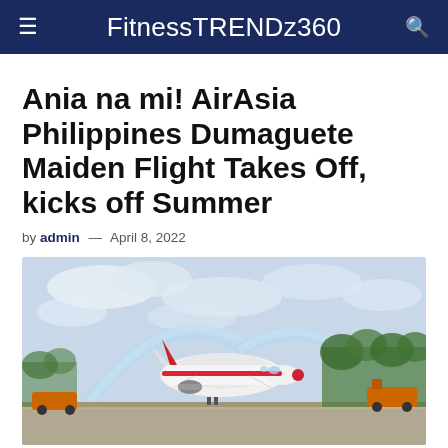FitnessTRENDz360
Ania na mi!  AirAsia Philippines Dumaguete Maiden Flight Takes Off, kicks off Summer
by admin — April 8, 2022
[Figure (photo): AirAsia Philippines aircraft on the tarmac at Dumaguete airport receiving a water cannon salute, with trees and cloudy sky in the background.]